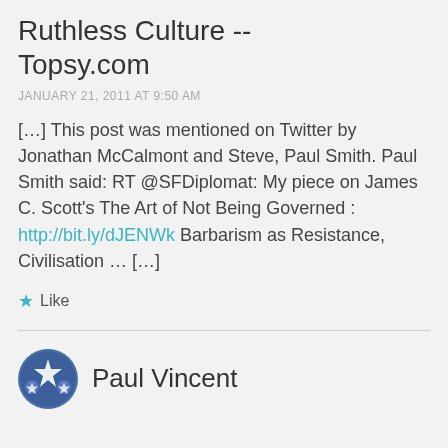Ruthless Culture -- Topsy.com
JANUARY 21, 2011 AT 9:50 AM
[…] This post was mentioned on Twitter by Jonathan McCalmont and Steve, Paul Smith. Paul Smith said: RT @SFDiplomat: My piece on James C. Scott's The Art of Not Being Governed : http://bit.ly/dJENWk Barbarism as Resistance, Civilisation … […]
Like
Paul Vincent